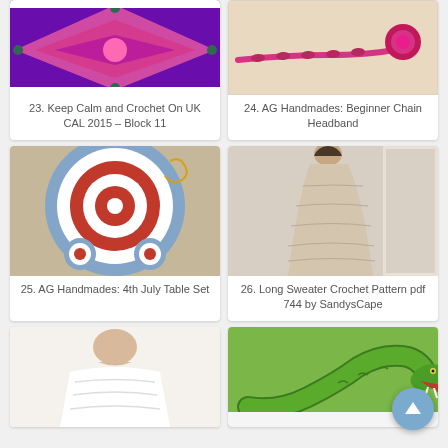[Figure (photo): Crochet granny square in pink, purple, and green colors – Keep Calm and Crochet On UK CAL 2015 Block 11]
23. Keep Calm and Crochet On UK CAL 2015 – Block 11
[Figure (photo): Pink crocheted flower headband on a wooden surface – AG Handmades Beginner Chain Headband]
24. AG Handmades: Beginner Chain Headband
[Figure (photo): Crochet 4th of July table set with red, white, and blue circular target pattern – AG Handmades]
25. AG Handmades: 4th July Table Set
[Figure (photo): Woman wearing a long beige crochet sweater/coat from behind – Long Sweater Crochet Pattern pdf 744 by SandysCape]
26. Long Sweater Crochet Pattern pdf 744 by SandysCape
[Figure (photo): Woman wearing a white crocheted top, partially visible from shoulders down]
[Figure (photo): Green crocheted snake toy/stuffed animal with open mouth showing fangs]